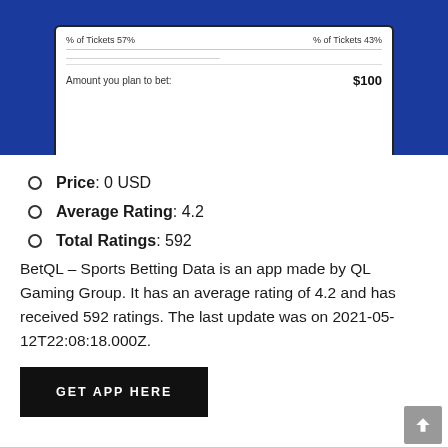[Figure (screenshot): Screenshot of BetQL app showing ticket percentages and a $100 bet amount input field, displayed on a phone screen against a blue background]
Price: 0 USD
Average Rating: 4.2
Total Ratings: 592
BetQL – Sports Betting Data is an app made by QL Gaming Group. It has an average rating of 4.2 and has received 592 ratings. The last update was on 2021-05-12T22:08:18.000Z.
GET APP HERE